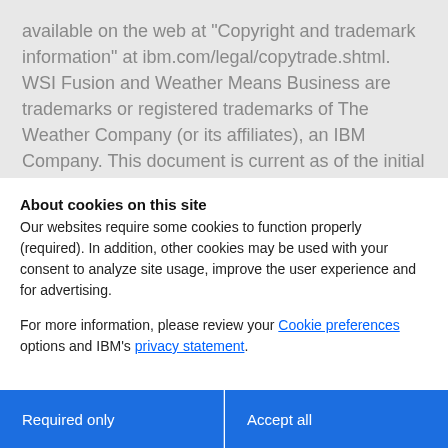available on the web at “Copyright and trademark information” at ibm.com/legal/copytrade.shtml. WSI Fusion and Weather Means Business are trademarks or registered trademarks of The Weather Company (or its affiliates), an IBM Company. This document is current as of the initial date of publication and may be changed by IBM at any time. Not all offerings are available in every
About cookies on this site
Our websites require some cookies to function properly (required). In addition, other cookies may be used with your consent to analyze site usage, improve the user experience and for advertising.
For more information, please review your Cookie preferences options and IBM’s privacy statement.
Required only
Accept all